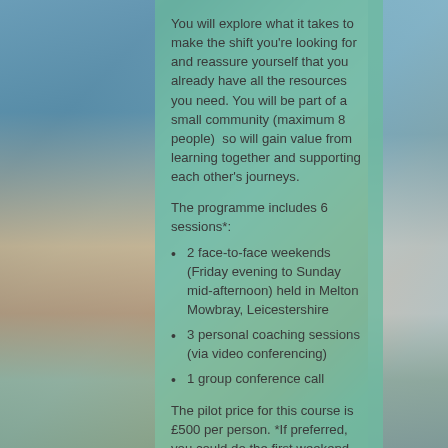[Figure (illustration): Background photo of a beach/ocean at sunset with sky gradient, overlaid with a semi-transparent teal/mint green panel in the center]
You will explore what it takes to make the shift you're looking for and reassure yourself that you already have all the resources you need. You will be part of a small community (maximum 8 people)  so will gain value from learning together and supporting each other's journeys.
The programme includes 6 sessions*:
2 face-to-face weekends (Friday evening to Sunday mid-afternoon) held in Melton Mowbray, Leicestershire
3 personal coaching sessions (via video conferencing)
1 group conference call
The pilot price for this course is £500 per person. *If preferred, you could do the first weekend only for £150 before deciding if you'd like to